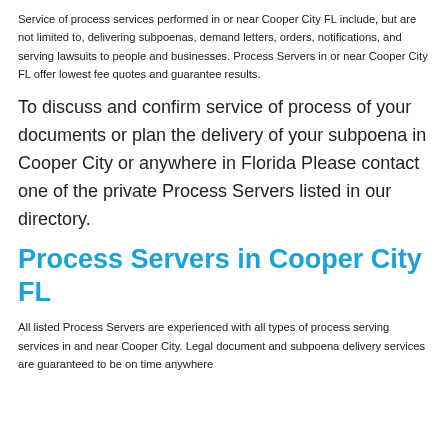Service of process services performed in or near Cooper City FL include, but are not limited to, delivering subpoenas, demand letters, orders, notifications, and serving lawsuits to people and businesses. Process Servers in or near Cooper City FL offer lowest fee quotes and guarantee results.
To discuss and confirm service of process of your documents or plan the delivery of your subpoena in Cooper City or anywhere in Florida Please contact one of the private Process Servers listed in our directory.
Process Servers in Cooper City FL
All listed Process Servers are experienced with all types of process serving services in and near Cooper City. Legal document and subpoena delivery services are guaranteed to be on time anywhere